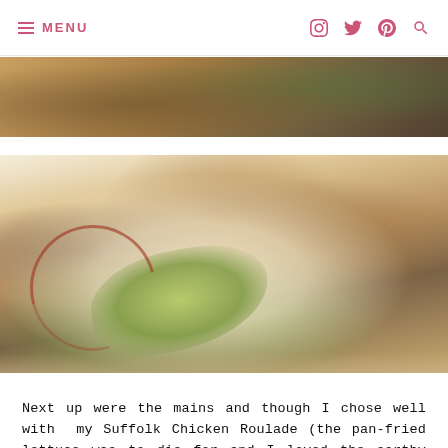≡ MENU
[Figure (photo): Partial cropped food photo at top of page, showing a warm-toned dish on a plate, partially visible]
[Figure (photo): Main food photo showing Suffolk Chicken Roulade dish on a white plate: sliced pan-fried chicken roulade with pan-fried lettuce, mushroom garnish, sauce drizzle, herbs and nuts scattered around, shot from close-up angle]
Next up were the mains and though I chose well with  my Suffolk Chicken Roulade (the pan-fried lettuce was to die for and I loved the earthy taste of the king oyster mushroom and truffle